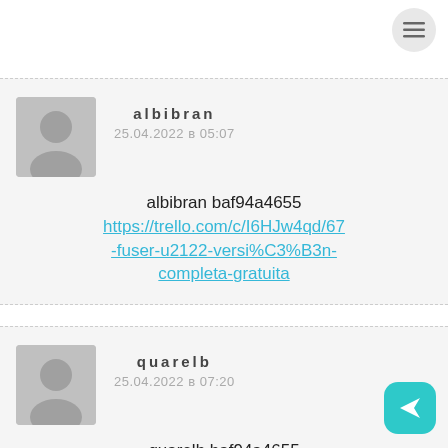[Figure (other): Hamburger menu button in top right corner]
albibran
25.04.2022 в 05:07
albibran baf94a4655
https://trello.com/c/I6HJw4qd/67-fuser-u2122-versi%C3%B3n-completa-gratuita
quarelb
25.04.2022 в 07:20
quarelb baf94a4655
https://coub.com/stories/4942218-ul-version-completa
[Figure (other): Send/forward button in bottom right corner]